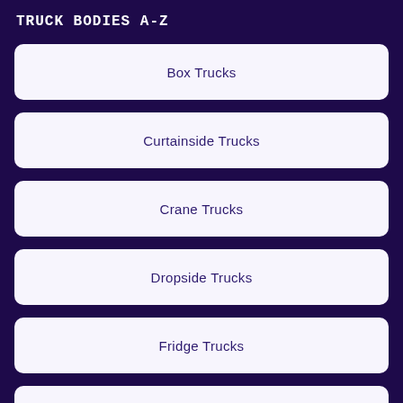TRUCK BODIES A-Z
Box Trucks
Curtainside Trucks
Crane Trucks
Dropside Trucks
Fridge Trucks
Grabloader Trucks